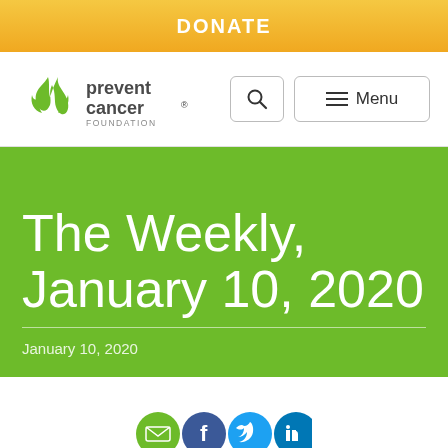DONATE
[Figure (logo): Prevent Cancer Foundation logo with green flame/ribbon icon and text 'prevent cancer FOUNDATION']
The Weekly, January 10, 2020
January 10, 2020
[Figure (illustration): Social media icons row: green email, blue Facebook, light blue Twitter, teal LinkedIn]